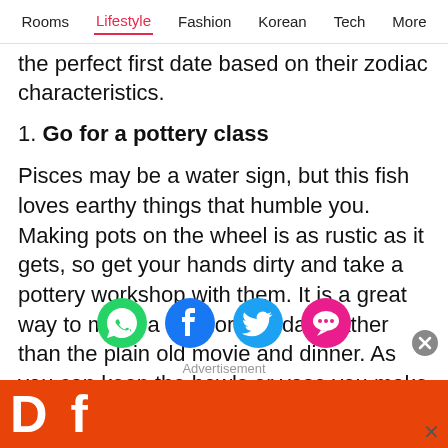Rooms  Lifestyle  Fashion  Korean  Tech  More
the perfect first date based on their zodiac characteristics.
1. Go for a pottery class
Pisces may be a water sign, but this fish loves earthy things that humble you. Making pots on the wheel is as rustic as it gets, so get your hands dirty and take a pottery workshop with them. It is a great way to make a memorable date rather than the plain old movie and dinner. As you can keep the bowls or vase you make in this shop,
[Figure (infographic): Social sharing icons: WhatsApp (green), Facebook (blue), Twitter (light blue), chat/comment (pink/red). Close button (grey circle with X).]
Advertisement
[Figure (other): Orange advertisement banner with large white bold text partially visible]